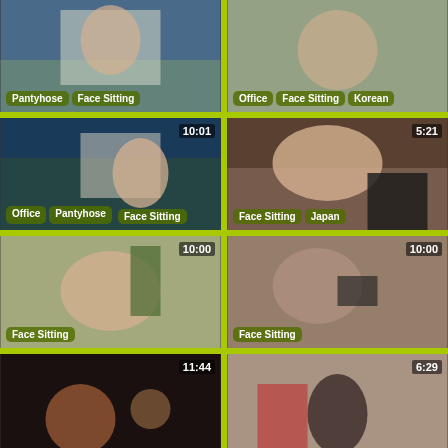[Figure (screenshot): Video thumbnail grid showing 8 video thumbnails arranged in 2 columns and 4 rows on a yellow-green background. Each thumbnail shows a video still with duration overlay and tag labels.]
Thumbnail 1 (top-left, row 1): tags: Pantyhose, Face Sitting
Thumbnail 2 (top-right, row 1): tags: Office, Face Sitting, Korean
Thumbnail 3 (row 2, left): duration 10:01, tags: Office, Pantyhose, Face Sitting
Thumbnail 4 (row 2, right): duration 5:21, tags: Face Sitting, Japan
Thumbnail 5 (row 3, left): duration 10:00, tags: Face Sitting
Thumbnail 6 (row 3, right): duration 10:00, tags: Face Sitting
Thumbnail 7 (row 4, left): duration 11:44
Thumbnail 8 (row 4, right): duration 6:29